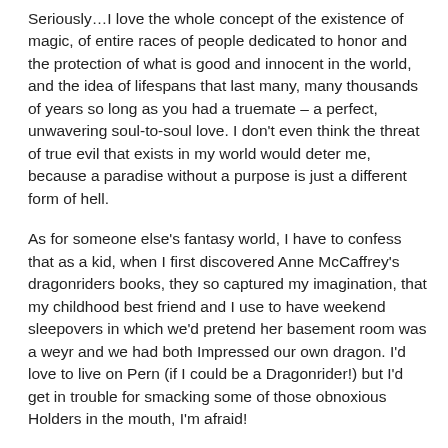Seriously…I love the whole concept of the existence of magic, of entire races of people dedicated to honor and the protection of what is good and innocent in the world, and the idea of lifespans that last many, many thousands of years so long as you had a truemate – a perfect, unwavering soul-to-soul love. I don't even think the threat of true evil that exists in my world would deter me, because a paradise without a purpose is just a different form of hell.
As for someone else's fantasy world, I have to confess that as a kid, when I first discovered Anne McCaffrey's dragonriders books, they so captured my imagination, that my childhood best friend and I use to have weekend sleepovers in which we'd pretend her basement room was a weyr and we had both Impressed our own dragon. I'd love to live on Pern (if I could be a Dragonrider!) but I'd get in trouble for smacking some of those obnoxious Holders in the mouth, I'm afraid!
> What was the first novel (published or unpublished) that you wrote and how long did it take to write it?